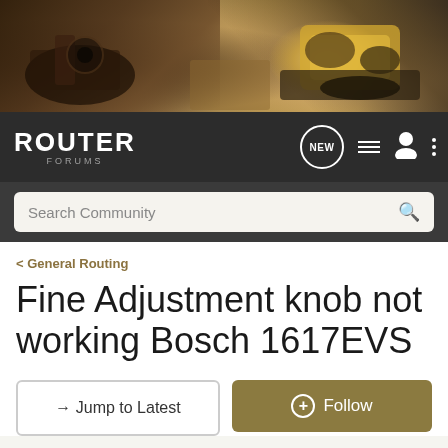[Figure (photo): Hero banner photo of woodworking routers and tools being used on wood, dark workshop background]
ROUTER FORUMS
Search Community
< General Routing
Fine Adjustment knob not working Bosch 1617EVS
→ Jump to Latest
+ Follow
1 - 6 of 6 Posts